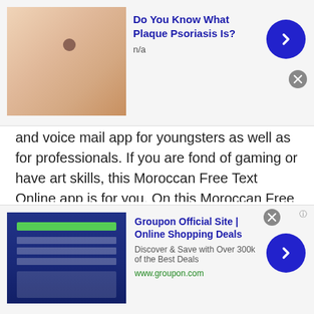[Figure (screenshot): Top advertisement banner: skin/psoriasis ad with thumbnail image of skin, blue bold title 'Do You Know What Plaque Psoriasis Is?', subtitle 'n/a', blue circle arrow button, grey close button.]
and voice mail app for youngsters as well as for professionals. If you are fond of gaming or have art skills, this Moroccan Free Text Online app is for you. On this Moroccan Free Text Online app, you can make channels of your choice. It gives you a possibility to make a text messaging channel where everybody can only send text messages online. You can also make separate voice and video channels according to your need and send messages online and receive messages online at no cost. This Moroccan Free Text Online app is becoming popular real
[Figure (screenshot): Bottom advertisement banner: Groupon Official Site ad with screenshot thumbnail of Groupon website, blue bold title 'Groupon Official Site | Online Shopping Deals', subtitle 'Discover & Save with Over 300k of the Best Deals', green URL 'www.groupon.com', blue circle arrow button, grey close button, small 'i' ad label.]